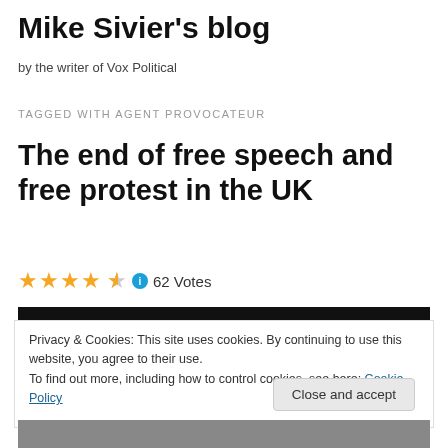Mike Sivier's blog
by the writer of Vox Political
TAGGED WITH AGENT PROVOCATEUR
The end of free speech and free protest in the UK
★★★★½ ℹ 62 Votes
[Figure (photo): Black banner image with bold white distressed text reading DON'T YOU WORRY YOUR]
Privacy & Cookies: This site uses cookies. By continuing to use this website, you agree to their use.
To find out more, including how to control cookies, see here: Cookie Policy
Close and accept
[Figure (photo): Bottom strip of a photograph, partially visible]